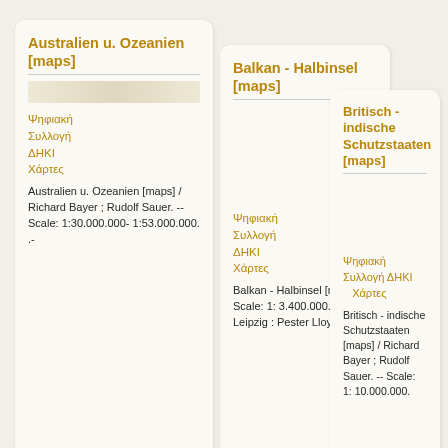Australien u. Ozeanien [maps]
Ψηφιακή Συλλογή ΔΗΚΙ Χάρτες
Australien u. Ozeanien [maps] / Richard Bayer ; Rudolf Sauer. -- Scale: 1:30.000.000- 1:53.000.000. .-
Balkan - Halbinsel [maps]
Ψηφιακή Συλλογή ΔΗΚΙ Χάρτες
Balkan - Halbinsel [maps]. -- Scale: 1: 3.400.000. . -- Leipzig : Pester Lloyd
Britisch - indische Schutzstaaten [maps]
Ψηφιακή Συλλογή ΔΗΚΙ    Χάρτες
Britisch - indische Schutzstaaten [maps] / Richard Bayer ; Rudolf Sauer. -- Scale: 1: 10.000.000.